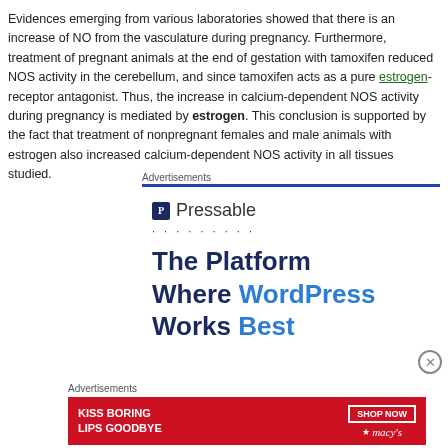Evidences emerging from various laboratories showed that there is an increase of NO from the vasculature during pregnancy. Furthermore, treatment of pregnant animals at the end of gestation with tamoxifen reduced NOS activity in the cerebellum, and since tamoxifen acts as a pure estrogen-receptor antagonist. Thus, the increase in calcium-dependent NOS activity during pregnancy is mediated by estrogen. This conclusion is supported by the fact that treatment of nonpregnant females and male animals with estrogen also increased calcium-dependent NOS activity in all tissues studied.
[Figure (other): Pressable advertisement: The Platform Where WordPress Works Best]
[Figure (other): Macy's advertisement: Kiss Boring Lips Goodbye - Shop Now]